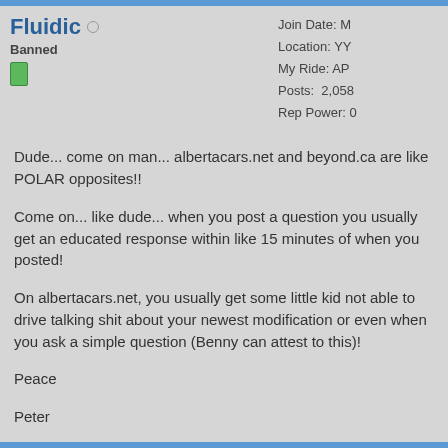Fluidic
Banned
Join Date: M
Location: YY
My Ride: AP
Posts: 2,058
Rep Power: 0
Dude... come on man... albertacars.net and beyond.ca are like POLAR opposites!!

Come on... like dude... when you post a question you usually get an educated response within like 15 minutes of when you posted!

On albertacars.net, you usually get some little kid not able to drive talking shit about your newest modification or even when you ask a simple question (Benny can attest to this)!

Peace

Peter